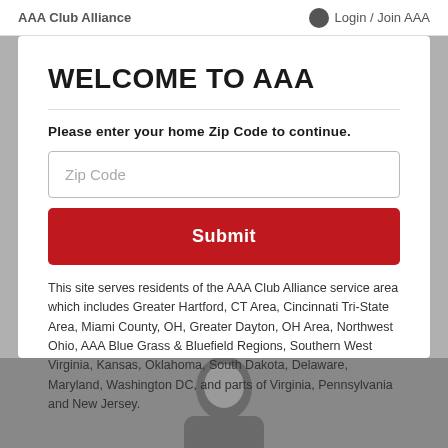AAA Club Alliance   Login / Join AAA
WELCOME TO AAA
Please enter your home Zip Code to continue.
This site serves residents of the AAA Club Alliance service area which includes Greater Hartford, CT Area, Cincinnati Tri-State Area, Miami County, OH, Greater Dayton, OH Area, Northwest Ohio, AAA Blue Grass & Bluefield Regions, Southern West Virginia, Kansas, Oklahoma, South Dakota, Delaware, Maryland, Washington DC, and parts of Virginia, Pennsylvania and New Jersey.
[Figure (photo): Bottom portion of a person's face and head, cropped, with gray/dark background]